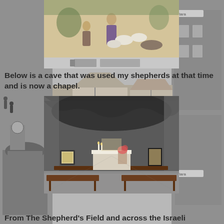[Figure (photo): Top portion showing a religious painting/fresco of shepherds with sheep, displayed on what appears to be a bulletin board with smaller images below it. Background shows European-style street scenes on left and right sides.]
Below is a cave that was used my shepherds at that time and is now a chapel.
[Figure (photo): Interior of a cave chapel converted from a shepherd's cave. Shows rough stone cave ceiling and walls, wooden pew benches in the foreground, and an altar with candles and flowers in the center background. A small illuminated niche is visible in the left wall.]
From The Shepherd's Field and across the Israeli